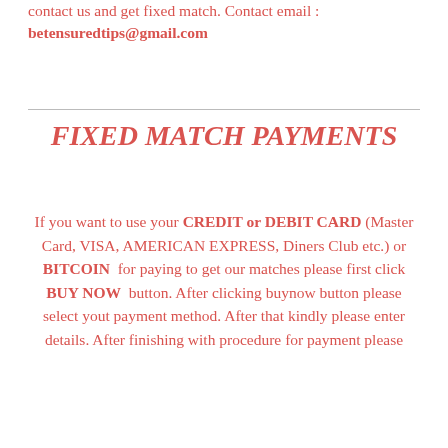contact us and get fixed match. Contact email : betensuredtips@gmail.com
FIXED MATCH PAYMENTS
If you want to use your CREDIT or DEBIT CARD (Master Card, VISA, AMERICAN EXPRESS, Diners Club etc.) or BITCOIN for paying to get our matches please first click BUY NOW button. After clicking buynow button please select yout payment method. After that kindly please enter details. After finishing with procedure for payment please